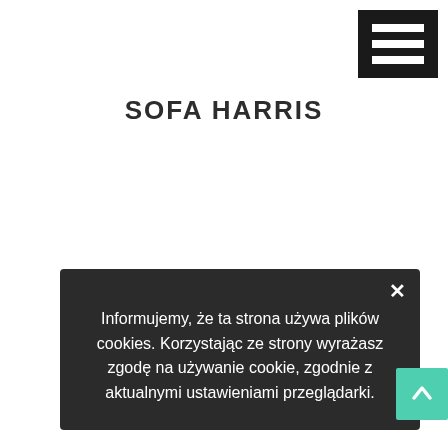[Figure (illustration): Hamburger menu icon: dark square with three white horizontal bars]
SOFA HARRIS
Informujemy, że ta strona używa plików cookies. Korzystając ze strony wyrażasz zgodę na używanie cookie, zgodnie z aktualnymi ustawieniami przeglądarki.